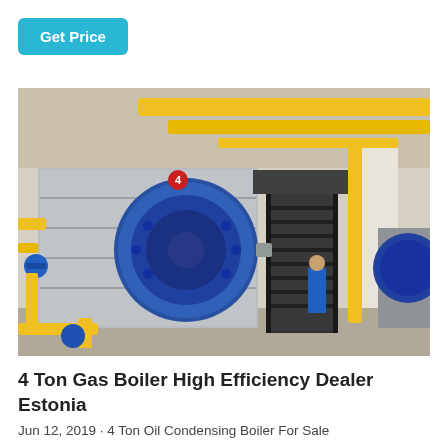Get Price
[Figure (photo): Industrial boiler room with large blue cylindrical gas boilers, yellow piping overhead and on the walls, metal staircases, and workers in blue uniforms visible in the background.]
4 Ton Gas Boiler High Efficiency Dealer Estonia
Jun 12, 2019 · 4 Ton Oil Condensing Boiler For Sale